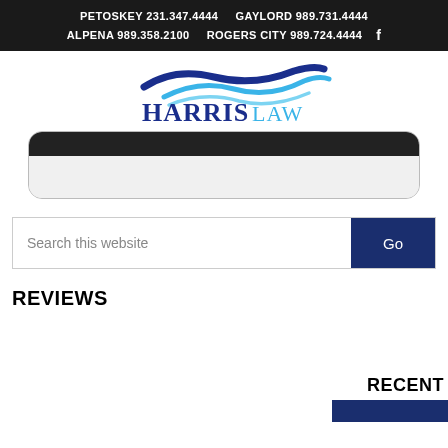PETOSKEY 231.347.4444   GAYLORD 989.731.4444   ALPENA 989.358.2100   ROGERS CITY 989.724.4444
[Figure (logo): Harris Law logo with blue wave design and text HARRIS LAW]
[Figure (screenshot): Partial view of a mobile device screen with dark top bar and light gray body]
Search this website
REVIEWS
RECENT